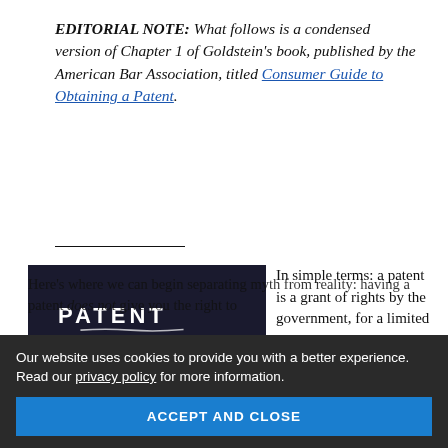EDITORIAL NOTE: What follows is a condensed version of Chapter 1 of Goldstein's book, published by the American Bar Association, titled Consumer Guide to Obtaining a Patent.
[Figure (photo): Dark background photo of a hand writing the word PATENT in white chalk/light text]
In simple terms: a patent is a grant of rights by the government, for a limited time, that can be used to stop others from making, using, selling, licensing, or importing your invention.
Here's where we can begin separating myth from reality: having a patent does not give you the right to
Our website uses cookies to provide you with a better experience. Read our privacy policy for more information.